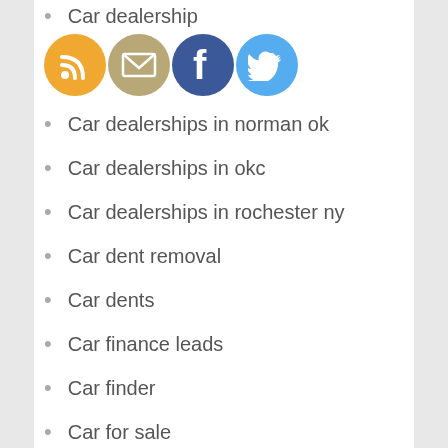Car dealership
[Figure (other): Social share icons: RSS (orange), Email (tan/gold), Facebook (blue), Twitter (light blue)]
Car dealerships in norman ok
Car dealerships in okc
Car dealerships in rochester ny
Car dent removal
Car dents
Car finance leads
Car finder
Car for sale
Car hauling
Car inspection harrisonburg va